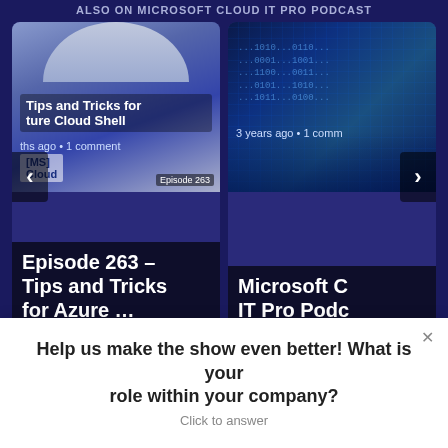ALSO ON MICROSOFT CLOUD IT PRO PODCAST
[Figure (screenshot): Podcast episode card: Episode 263 – Tips and Tricks for Azure Cloud Shell. Shows MS Cloud logo thumbnail, navigation arrows. Text: 'Tips and Tricks for Azure Cloud Shell', 'ths ago • 1 comment', 'Episode 263 – Tips and Tricks for Azure ...']
[Figure (screenshot): Podcast episode card: Microsoft Cloud IT Pro Podcast. Shows blue digital city thumbnail. Text: '3 years ago • 1 comm', 'Microsoft C IT Pro Podc']
Comments  Community  🔒  1  Login ▾
♡ Favorite
Sort by Best ▾
Help us make the show even better! What is your role within your company?
Click to answer